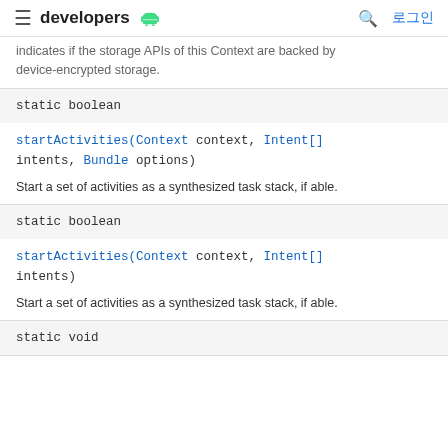developers (android logo) | 로그인
indicates if the storage APIs of this Context are backed by device-encrypted storage.
static boolean
startActivities(Context context, Intent[] intents, Bundle options)
Start a set of activities as a synthesized task stack, if able.
static boolean
startActivities(Context context, Intent[] intents)
Start a set of activities as a synthesized task stack, if able.
static void